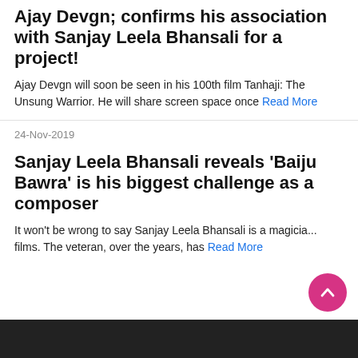Ajay Devgn; confirms his association with Sanjay Leela Bhansali for a project!
Ajay Devgn will soon be seen in his 100th film Tanhaji: The Unsung Warrior. He will share screen space once Read More
24-Nov-2019
Sanjay Leela Bhansali reveals 'Baiju Bawra' is his biggest challenge as a composer
It won't be wrong to say Sanjay Leela Bhansali is a magicia... films. The veteran, over the years, has Read More